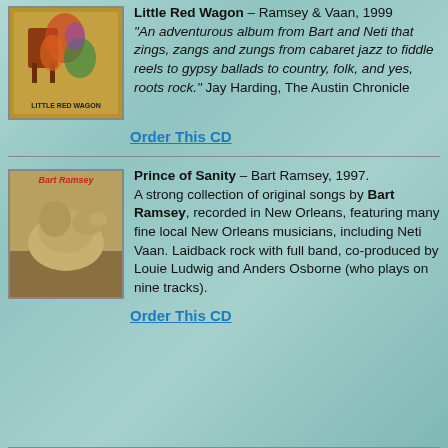[Figure (photo): Album cover for Little Red Wagon by Ramsey & Vaan]
Little Red Wagon – Ramsey & Vaan, 1999
"An adventurous album from Bart and Neti that zings, zangs and zungs from cabaret jazz to fiddle reels to gypsy ballads to country, folk, and yes, roots rock." Jay Harding, The Austin Chronicle
Order This CD
[Figure (photo): Album cover for Prince of Sanity by Bart Ramsey]
Prince of Sanity – Bart Ramsey, 1997.
A strong collection of original songs by Bart Ramsey, recorded in New Orleans, featuring many fine local New Orleans musicians, including Neti Vaan. Laidback rock with full band, co-produced by Louie Ludwig and Anders Osborne (who plays on nine tracks).
Order This CD